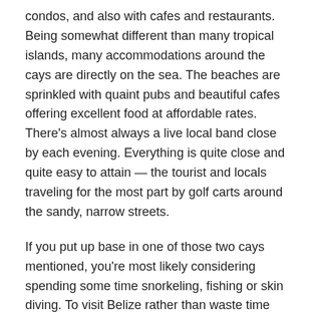condos, and also with cafes and restaurants. Being somewhat different than many tropical islands, many accommodations around the cays are directly on the sea. The beaches are sprinkled with quaint pubs and beautiful cafes offering excellent food at affordable rates. There's almost always a live local band close by each evening. Everything is quite close and quite easy to attain — the tourist and locals traveling for the most part by golf carts around the sandy, narrow streets.
If you put up base in one of those two cays mentioned, you're most likely considering spending some time snorkeling, fishing or skin diving. To visit Belize rather than waste time exploring Belize's magnificent barrier reef could be an excellent chance missed. The aquatic life and this world are amazing and past words. From the town of San Pedro, you'll come across a range of charter operations to take you to the barrier reef to skin dive, snorkel or fish that is the deep sea.